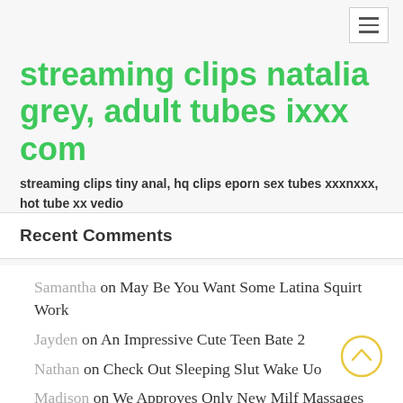streaming clips natalia grey, adult tubes ixxx com
streaming clips tiny anal, hq clips eporn sex tubes xxxnxxx, hot tube xx vedio
Recent Comments
Samantha on May Be You Want Some Latina Squirt Work
Jayden on An Impressive Cute Teen Bate 2
Nathan on Check Out Sleeping Slut Wake Uo
Madison on We Approves Only New Milf Massages Dick